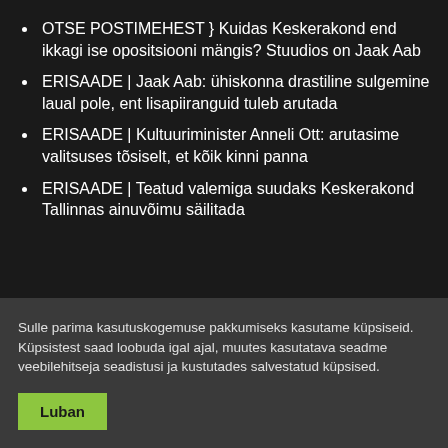OTSE POSTIMEHEST } Kuidas Keskerakond end ikkagi ise opositsiooni mängis? Stuudios on Jaak Aab
ERISAADE | Jaak Aab: ühiskonna drastiline sulgemine laual pole, ent lisapiiranguid tuleb arutada
ERISAADE | Kultuuriminister Anneli Ott: arutasime valitsuses tõsiselt, et kõik kinni panna
ERISAADE | Teatud valemiga suudaks Keskerakond Tallinnas ainuvõimu säilitada
Sulle parima kasutuskogemuse pakkumiseks kasutame küpsiseid. Küpsistest saad loobuda igal ajal, muutes kasutatava seadme veebilehitseja seadistusi ja kustutades salvestatud küpsised.
Luban